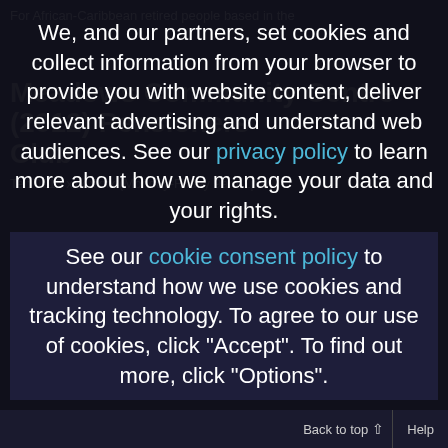For African-Caribbean retired people based in the
Meadows Community Centre (2012) Pensioners Club
Tel: 0115 xxx xxxx (Monday-Friday 9am-1pm)
AFEUK NWC: Best Foot Forward Walks
A weekly programme of guided health walks in open spaces starting in Nottingham Walking...
We, and our partners, set cookies and collect information from your browser to provide you with website content, deliver relevant advertising and understand web audiences. See our privacy policy to learn more about how we manage your data and your rights. See our cookie consent policy to understand how we use cookies and tracking technology. To agree to our use of cookies, click "Accept". To find out more, click "Options".
Accept
Options
Back to top ↑   Help